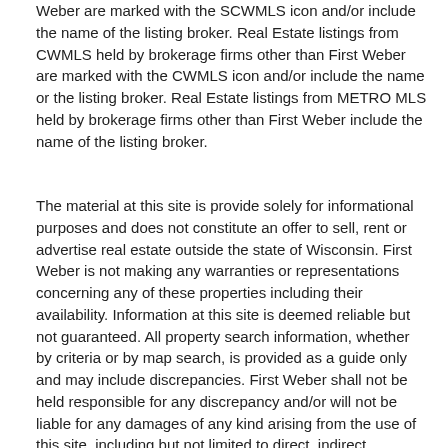Weber are marked with the SCWMLS icon and/or include the name of the listing broker. Real Estate listings from CWMLS held by brokerage firms other than First Weber are marked with the CWMLS icon and/or include the name or the listing broker. Real Estate listings from METRO MLS held by brokerage firms other than First Weber include the name of the listing broker.
The material at this site is provide solely for informational purposes and does not constitute an offer to sell, rent or advertise real estate outside the state of Wisconsin. First Weber is not making any warranties or representations concerning any of these properties including their availability. Information at this site is deemed reliable but not guaranteed. All property search information, whether by criteria or by map search, is provided as a guide only and may include discrepancies. First Weber shall not be held responsible for any discrepancy and/or will not be liable for any damages of any kind arising from the use of this site, including but not limited to direct, indirect, incidental, punitive, and consequential damages. The information on this site has not been verified by agency or company. You expressly agree that your use of this site is at your sole risk.